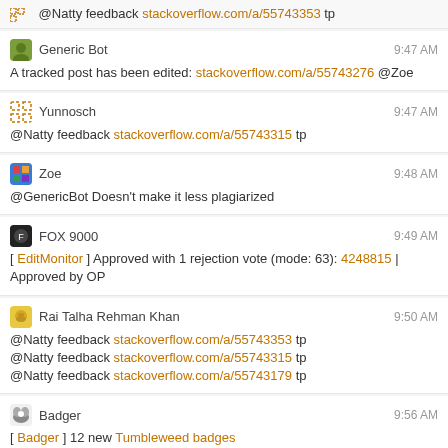@Natty feedback stackoverflow.com/a/55743353 tp
Generic Bot 9:47 AM
A tracked post has been edited: stackoverflow.com/a/55743276 @Zoe
Yunnosch 9:47 AM
@Natty feedback stackoverflow.com/a/55743315 tp
Zoe 9:48 AM
@GenericBot Doesn't make it less plagiarized
FOX 9000 9:49 AM
[ EditMonitor ] Approved with 1 rejection vote (mode: 63): 4248815 | Approved by OP
Rai Talha Rehman Khan 9:50 AM
@Natty feedback stackoverflow.com/a/55743353 tp
@Natty feedback stackoverflow.com/a/55743315 tp
@Natty feedback stackoverflow.com/a/55743179 tp
Badger 9:56 AM
[ Badger ] 12 new Tumbleweed badges
Queen 9:58 AM
[ Heat Detector | Hydrant ] SCORE: 6 ★★★☆☆ (Regex:NO NaiveBayes:0.95 OpenNLP:0.01 Perspective:0.90) comment cc: @Zoe
Zoe 9:59 AM